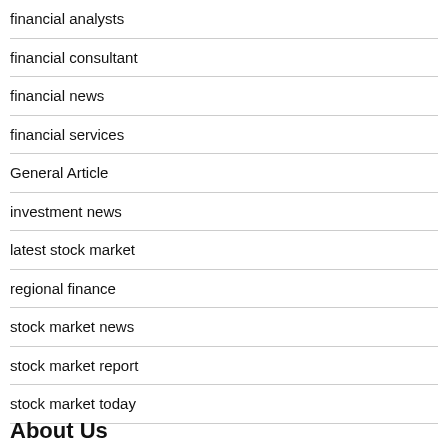financial analysts
financial consultant
financial news
financial services
General Article
investment news
latest stock market
regional finance
stock market news
stock market report
stock market today
About Us